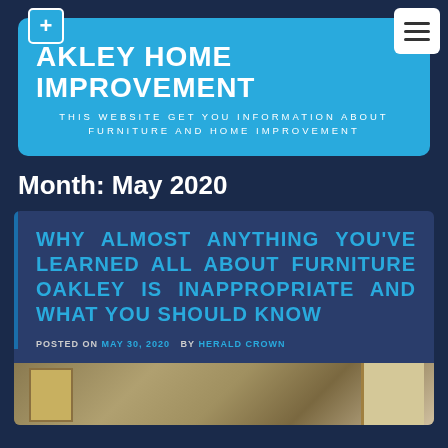AKLEY HOME IMPROVEMENT — THIS WEBSITE GET YOU INFORMATION ABOUT FURNITURE AND HOME IMPROVEMENT
Month: May 2020
WHY ALMOST ANYTHING YOU'VE LEARNED ALL ABOUT FURNITURE OAKLEY IS INAPPROPRIATE AND WHAT YOU SHOULD KNOW
POSTED ON MAY 30, 2020  BY HERALD CROWN
[Figure (photo): Indoor room scene showing furniture and home interior]